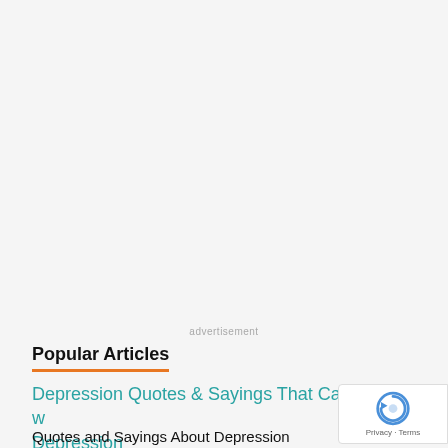advertisement
Popular Articles
Depression Quotes & Sayings That Capture Life with Depression
Quotes and Sayings About Depression